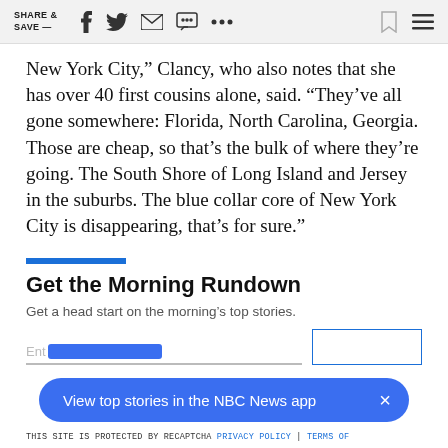SHARE & SAVE —
New York City,” Clancy, who also notes that she has over 40 first cousins alone, said. “They’ve all gone somewhere: Florida, North Carolina, Georgia. Those are cheap, so that’s the bulk of where they’re going. The South Shore of Long Island and Jersey in the suburbs. The blue collar core of New York City is disappearing, that’s for sure.”
Get the Morning Rundown
Get a head start on the morning’s top stories.
View top stories in the NBC News app
THIS SITE IS PROTECTED BY RECAPTCHA PRIVACY POLICY | TERMS OF